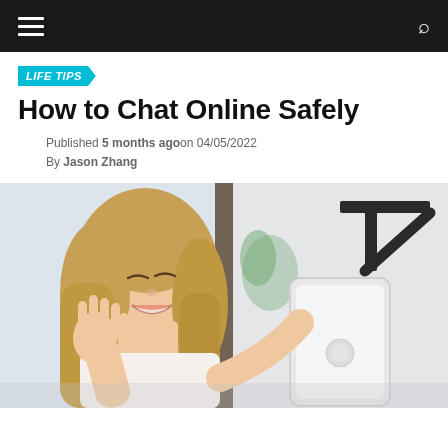LIFE TIPS — How to Chat Online Safely — navigation bar
LIFE TIPS
How to Chat Online Safely
Published 5 months agoon 04/05/2022
By Jason Zhang
[Figure (photo): A smiling young woman with long blonde hair waving at a tablet she holds in her right hand, appearing to video chat. Background shows a room with dark metal shelf brackets mounted on a white wall.]